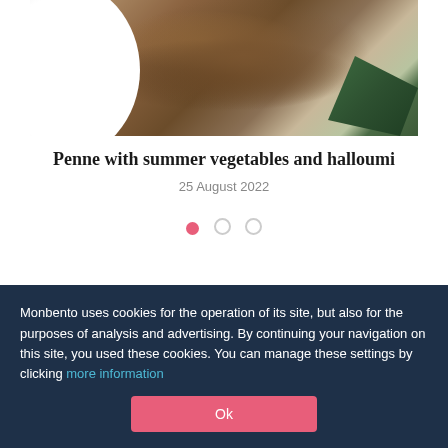[Figure (photo): Food photography showing a wooden board with a white plate partially visible on the left and a dark green leaf in the bottom right corner, on a stone/concrete surface.]
Penne with summer vegetables and halloumi
25 August 2022
Monbento uses cookies for the operation of its site, but also for the purposes of analysis and advertising. By continuing your navigation on this site, you used these cookies. You can manage these settings by clicking more information
Ok